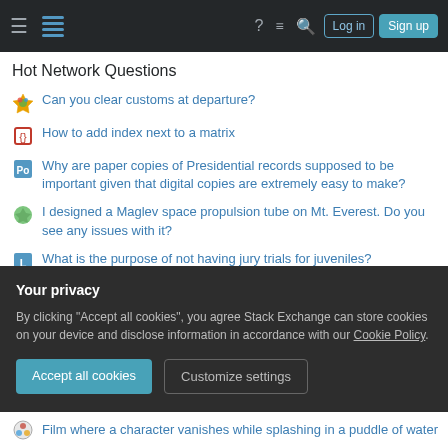Stack Exchange navigation bar with Log in and Sign up buttons
Hot Network Questions
Can you clear customs at departure?
How to add index next to a matrix
Why are paper copies of Presidential records supposed to be important given that digital copies are extremely easy to make?
I designed a Maglev space propulsion tube on Mt. Everest. Do you see any issues with it?
What is the purpose of not having jury trials for juveniles?
Is the difference between two ordinal variables ordinal?
How did God choose healing instead of taking away the serpents in
Your privacy
By clicking "Accept all cookies", you agree Stack Exchange can store cookies on your device and disclose information in accordance with our Cookie Policy.
Film where a character vanishes while splashing in a puddle of water